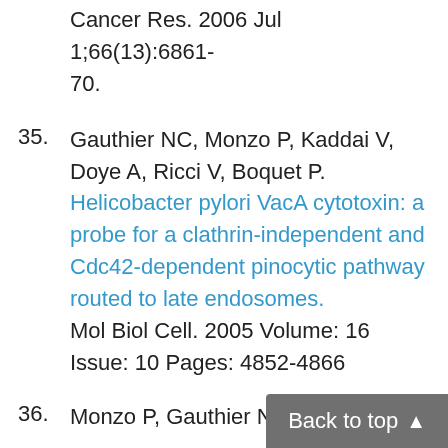(continuation) Cancer Res. 2006 Jul 1;66(13):6861-70.
35. Gauthier NC, Monzo P, Kaddai V, Doye A, Ricci V, Boquet P. Helicobacter pylori VacA cytotoxin: a probe for a clathrin-independent and Cdc42-dependent pinocytic pathway routed to late endosomes. Mol Biol Cell. 2005 Volume: 16 Issue: 10 Pages: 4852-4866
36. Monzo P, Gauthier NC, Keslair F, ...